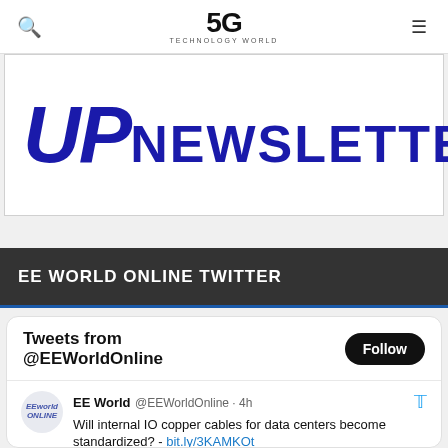5G TECHNOLOGY WORLD
[Figure (logo): UP NEWSLETTER logo in bold blue italic text]
EE WORLD ONLINE TWITTER
[Figure (screenshot): Twitter widget showing Tweets from @EEWorldOnline with a Follow button and a tweet from EE World @EEWorldOnline 4h: Will internal IO copper cables for data centers become standardized? - bit.ly/3KAMKOt]